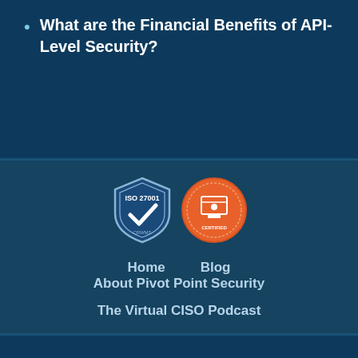What are the Financial Benefits of API-Level Security?
[Figure (logo): ISO 27001 certified shield badge and an orange circular certification badge]
Home   Blog   About Pivot Point Security
The Virtual CISO Podcast
© 2001 - 2022 Pivot Point Security Privacy Policy | Cookie Policy | External Linking Policy | Sitemap